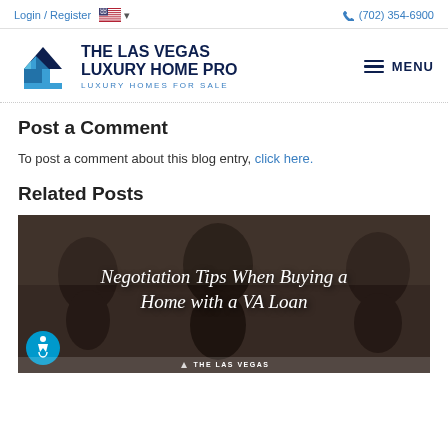Login / Register  🇺🇸 ▾   (702) 354-6900
[Figure (logo): The Las Vegas Luxury Home Pro logo with blue house icon and text 'THE LAS VEGAS LUXURY HOME PRO — LUXURY HOMES FOR SALE' and hamburger MENU button on right]
Post a Comment
To post a comment about this blog entry, click here.
Related Posts
[Figure (photo): Photo of people in discussion with overlay text 'Negotiation Tips When Buying a Home with a VA Loan' in script font, with accessibility icon and 'THE LAS VEGAS' watermark at bottom]